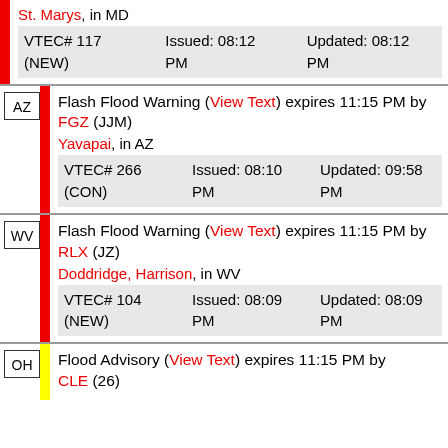St. Marys, in MD
VTEC# 117 (NEW)   Issued: 08:12 PM   Updated: 08:12 PM
Flash Flood Warning (View Text) expires 11:15 PM by FGZ (JJM)
Yavapai, in AZ
VTEC# 266 (CON)   Issued: 08:10 PM   Updated: 09:58 PM
Flash Flood Warning (View Text) expires 11:15 PM by RLX (JZ)
Doddridge, Harrison, in WV
VTEC# 104 (NEW)   Issued: 08:09 PM   Updated: 08:09 PM
Flood Advisory (View Text) expires 11:15 PM by CLE (26)